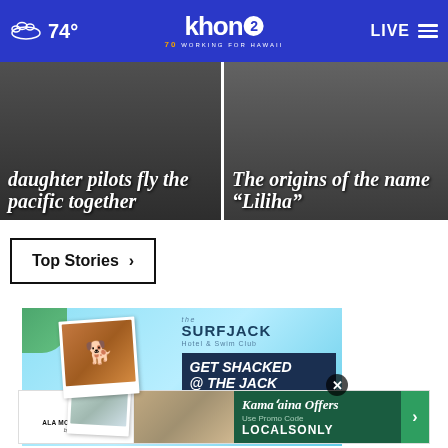74° khon2 WORKING FOR HAWAII LIVE
[Figure (screenshot): Two news story hero images: left shows 'daughter pilots fly the pacific together', right shows 'The origins of the name "Liliha"']
daughter pilots fly the pacific together
The origins of the name "Liliha"
Top Stories ›
[Figure (photo): The SurfJack Hotel & Swim Club advertisement with a dog photo and pool images, text reading 'GET SHACKED @ THE JACK']
[Figure (photo): Ala Moana Hotel by Mantra advertisement with text 'Kama'aina Offers Use Promo Code LOCALSONLY']